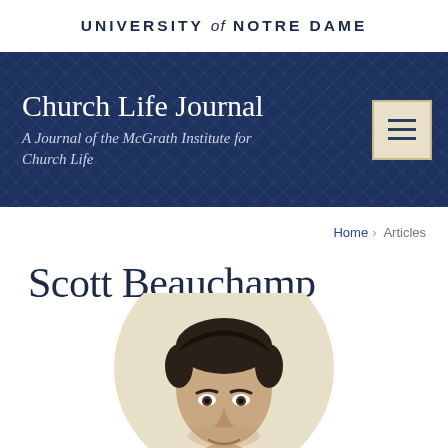UNIVERSITY of NOTRE DAME
Church Life Journal
A Journal of the McGrath Institute for Church Life
Home › Articles
Scott Beauchamp
[Figure (photo): Circular cropped portrait photo of Scott Beauchamp, a man with dark hair, shown from approximately the shoulders up against a light beige background.]